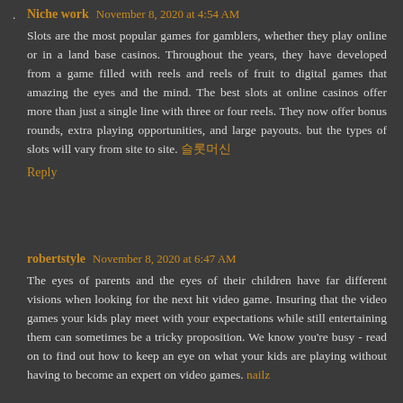Niche work  November 8, 2020 at 4:54 AM
Slots are the most popular games for gamblers, whether they play online or in a land base casinos. Throughout the years, they have developed from a game filled with reels and reels of fruit to digital games that amazing the eyes and the mind. The best slots at online casinos offer more than just a single line with three or four reels. They now offer bonus rounds, extra playing opportunities, and large payouts. but the types of slots will vary from site to site. 슬롯머신
Reply
robertstyle  November 8, 2020 at 6:47 AM
The eyes of parents and the eyes of their children have far different visions when looking for the next hit video game. Insuring that the video games your kids play meet with your expectations while still entertaining them can sometimes be a tricky proposition. We know you're busy - read on to find out how to keep an eye on what your kids are playing without having to become an expert on video games. nailz